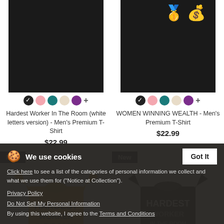[Figure (photo): Black t-shirt product image for Hardest Worker In The Room (left)]
[Figure (photo): Black t-shirt product image for WOMEN WINNING WEALTH with medal and money bag emoji (right)]
Hardest Worker In The Room (white letters version) - Men's Premium T-Shirt
$22.99
WOMEN WINNING WEALTH - Men's Premium T-Shirt
$22.99
[Figure (photo): New yellow t-shirt with HARDEST WORKER IN THE ROOM text (left bottom)]
[Figure (photo): New black women's t-shirt with HARDEST WORKER IN THE ROOM text (right bottom)]
We use cookies
Click here to see a list of the categories of personal information we collect and what we use them for ("Notice at Collection").
Privacy Policy
Do Not Sell My Personal Information
By using this website, I agree to the Terms and Conditions